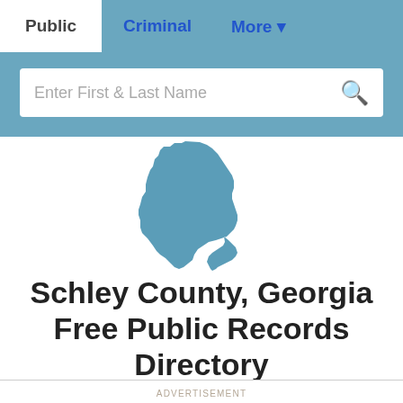Public | Criminal | More
[Figure (screenshot): Search bar with placeholder text 'Enter First & Last Name' and a search icon]
[Figure (map): Silhouette map of the state of Georgia in muted blue/teal color]
Schley County, Georgia Free Public Records Directory
ADVERTISEMENT